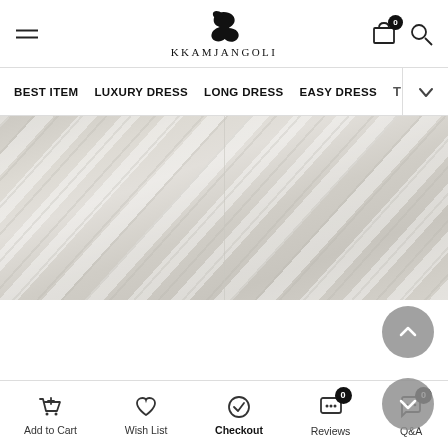KKAMJANGOLI
BEST ITEM  LUXURY DRESS  LONG DRESS  EASY DRESS
[Figure (photo): Blurred fabric/textile image with diagonal light streaks in gray and beige tones]
[Figure (photo): Partial product photo showing a light cream/beige background with a framed or mirrored element]
Add to Cart  Wish List  Checkout  Reviews  Q&A